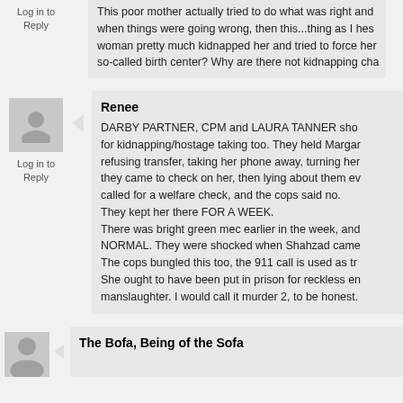This poor mother actually tried to do what was right and... when things were going wrong, then this...thing as I hes... woman pretty much kidnapped her and tried to force her... so-called birth center? Why are there not kidnapping cha...
Log in to Reply
Renee
DARBY PARTNER, CPM and LAURA TANNER sho... for kidnapping/hostage taking too. They held Margar... refusing transfer, taking her phone away, turning her... they came to check on her, then lying about them ev... called for a welfare check, and the cops said no.
They kept her there FOR A WEEK.
There was bright green mec earlier in the week, and... NORMAL. They were shocked when Shahzad came...
The cops bungled this too, the 911 call is used as tr...
She ought to have been put in prison for reckless en... manslaughter. I would call it murder 2, to be honest.
Log in to Reply
The Bofa, Being of the Sofa